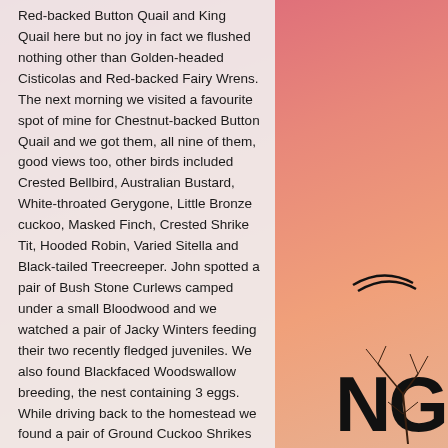Red-backed Button Quail and King Quail here but no joy in fact we flushed nothing other than Golden-headed Cisticolas and Red-backed Fairy Wrens. The next morning we visited a favourite spot of mine for Chestnut-backed Button Quail and we got them, all nine of them, good views too, other birds included Crested Bellbird, Australian Bustard, White-throated Gerygone, Little Bronze cuckoo, Masked Finch, Crested Shrike Tit, Hooded Robin, Varied Sitella and Black-tailed Treecreeper. John spotted a pair of Bush Stone Curlews camped under a small Bloodwood and we watched a pair of Jacky Winters feeding their two recently fledged juveniles. We also found Blackfaced Woodswallow breeding, the nest containing 3 eggs. While driving back to the homestead we found a pair of Ground Cuckoo Shrikes feeding on insects in recently burnt woodland. Meanwhile back on the Drysdale River for an early morning walk on the 30th October we listed 61 species including Channel-billed Cuckoo, Collared Sparrowhawk, Black Bittern, Varied Lorikeet, Purple-crowned Fairy Wren, Crested